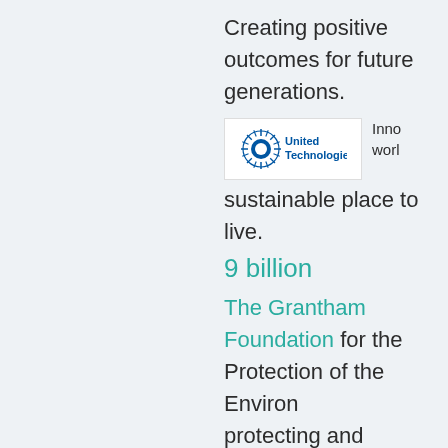Creating positive outcomes for future generations.
[Figure (logo): United Technologies logo with blue sunburst/globe icon and bold blue text]
Inno... world... sustainable place to live.
9 billion
The Grantham Foundation for the Protection of the Environment protecting and improving global environment.
[Figure (logo): Energy Foundation logo with teal starburst and text ENERGY FOUNDATION]
Ener... Servi... intere...